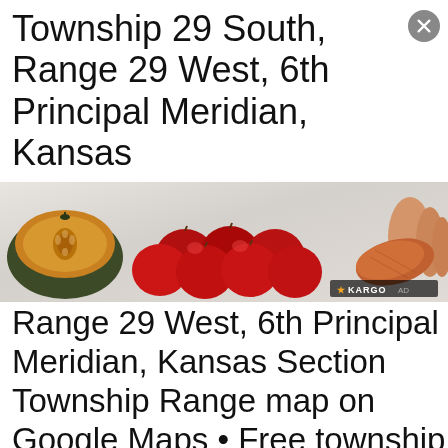Township 29 South, Range 29 West, 6th Principal Meridian, Kansas
[Figure (photo): Advertisement banner showing vegetables on a marble surface: a halved acorn squash on the left, a pile of red apples in the center, and a sweet potato held by a hand on the right. KARGO AD badge in the bottom right corner.]
Range 29 West, 6th Principal Meridian, Kansas Section Township Range map on Google Maps • Free township and range locator searches by address, place or reverse find by land parcel description.